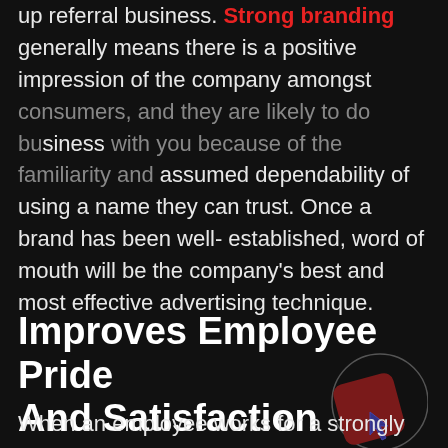up referral business. Strong branding generally means there is a positive impression of the company amongst consumers, and they are likely to do business with you because of the familiarity and assumed dependability of using a name they can trust. Once a brand has been well-established, word of mouth will be the company's best and most effective advertising technique.
Improves Employee Pride And Satisfaction
When an employee works for a strongly branded company and truly stands behind